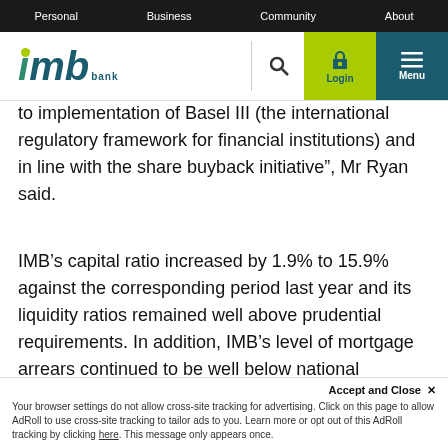Personal | Business | Community | About
[Figure (logo): IMB Bank logo with green dot above i, teal letters, and bank text]
to implementation of Basel III (the international regulatory framework for financial institutions) and in line with the share buyback initiative”, Mr Ryan said.
IMB’s capital ratio increased by 1.9% to 15.9% against the corresponding period last year and its liquidity ratios remained well above prudential requirements. In addition, IMB’s level of mortgage arrears continued to be well below national averages for residential loan portfolios a…
Accept and Close × Your browser settings do not allow cross-site tracking for advertising. Click on this page to allow AdRoll to use cross-site tracking to tailor ads to you. Learn more or opt out of this AdRoll tracking by clicking here. This message only appears once.